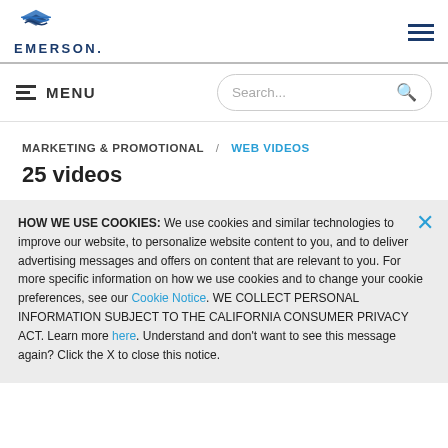EMERSON — website header with logo and hamburger menu
≡ MENU | Search...
MARKETING & PROMOTIONAL / WEB VIDEOS
25 videos
HOW WE USE COOKIES: We use cookies and similar technologies to improve our website, to personalize website content to you, and to deliver advertising messages and offers on content that are relevant to you. For more specific information on how we use cookies and to change your cookie preferences, see our Cookie Notice. WE COLLECT PERSONAL INFORMATION SUBJECT TO THE CALIFORNIA CONSUMER PRIVACY ACT. Learn more here. Understand and don't want to see this message again? Click the X to close this notice.